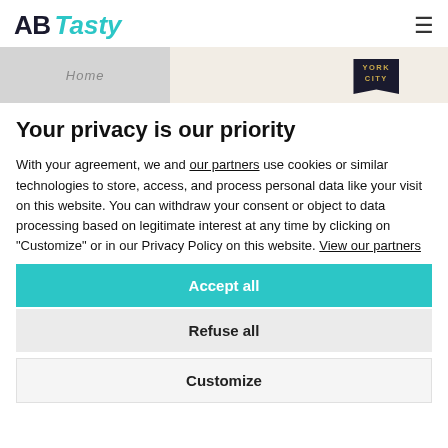AB Tasty
[Figure (screenshot): Hero image strip showing a webpage with 'Home' italic text on grey background and a York City badge on cream background]
Your privacy is our priority
With your agreement, we and our partners use cookies or similar technologies to store, access, and process personal data like your visit on this website. You can withdraw your consent or object to data processing based on legitimate interest at any time by clicking on "Customize" or in our Privacy Policy on this website. View our partners
Accept all
Refuse all
Customize